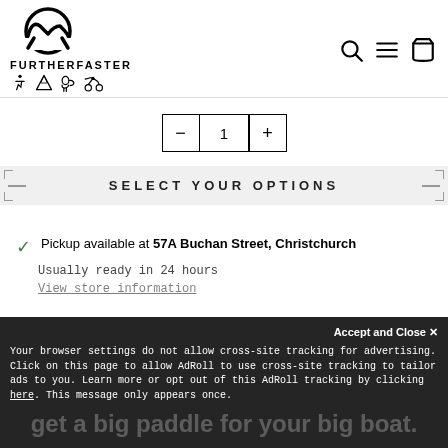[Figure (logo): FurtherFaster logo with mountain/arch icon, brand name in bold uppercase letters, and four activity icons below (hiker, mountain, dog, cycling)]
[Figure (infographic): Header icons: search magnifier, hamburger menu, shopping bag]
[Figure (infographic): Quantity selector with minus button, value '1', and plus button in bordered box]
SELECT YOUR OPTIONS
Pickup available at 57A Buchan Street, Christchurch
Usually ready in 24 hours
View store information
Accept and Close ×
Your browser settings do not allow cross-site tracking for advertising. Click on this page to allow AdRoll to use cross-site tracking to tailor ads to you. Learn more or opt out of this AdRoll tracking by clicking here. This message only appears once.